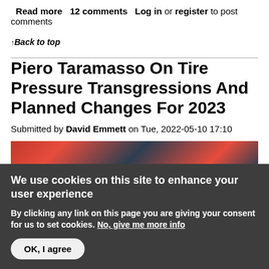Read more   12 comments   Log in or register to post comments
↑Back to top
Piero Taramasso On Tire Pressure Transgressions And Planned Changes For 2023
Submitted by David Emmett on Tue, 2022-05-10 17:10
[Figure (photo): Motorsport/racing photo showing riders in red and dark race gear]
We use cookies on this site to enhance your user experience
By clicking any link on this page you are giving your consent for us to set cookies. No, give me more info
OK, I agree